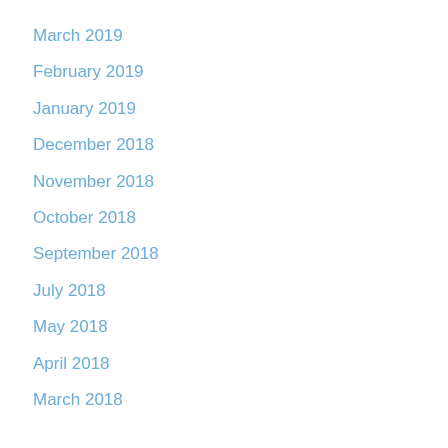March 2019
February 2019
January 2019
December 2018
November 2018
October 2018
September 2018
July 2018
May 2018
April 2018
March 2018